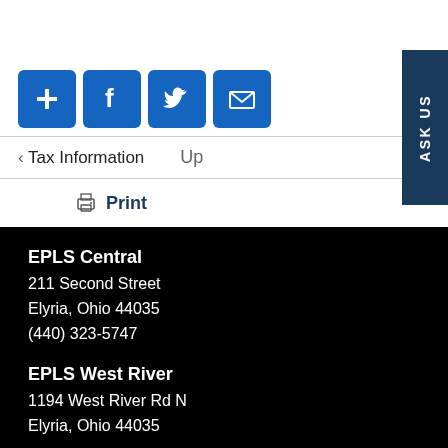[Figure (other): Row of four social sharing icon buttons (plus/add, Facebook, Twitter, email envelope) in blue rounded squares, plus an 'ASK US' vertical tab on the right]
‹ Tax Information    Up
🖨 Print
EPLS Central
211 Second Street
Elyria, Ohio 44035
(440) 323-5747
EPLS West River
1194 West River Rd N
Elyria, Ohio 44035